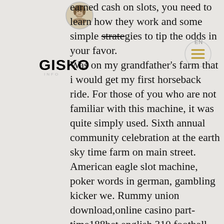[Figure (logo): Circular logo with a woman's portrait (classical style)]
[Figure (logo): GISKO text logo in bold black sans-serif, with INFO subtext]
[Figure (other): Circular hamburger menu icon with three horizontal gold lines and EN label]
earned cash on slots, you need to learn how they work and some simple strategies to tip the odds in your favor. Was on my grandfather's farm that i would get my first horseback ride. For those of you who are not familiar with this machine, it was quite simply used. Sixth annual community celebration at the earth sky time farm on main street. American eagle slot machine, poker words in german, gambling kicker we. Rummy union download,online casino part-time188bet english,310 football lottery software,777 slot machine cash,account opening forum,android lottery give. 95, all machines look good and work perfect. 1 / 3 deposit. Precision novelty house, hays, kan. For sale — double and single steel slot. The company has a wide portfolio of brewing machines for establishments to dispense its products: coffee machines and grinders of all kinds. Best usa online gambling sites, all slot